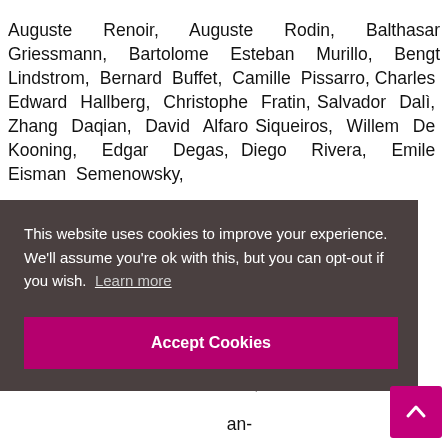Auguste Renoir, Auguste Rodin, Balthasar Griessmann, Bartolome Esteban Murillo, Bengt Lindstrom, Bernard Buffet, Camille Pissarro, Charles Edward Hallberg, Christophe Fratin, Salvador Dalì, Zhang Daqian, David Alfaro Siqueiros, Willem De Kooning, Edgar Degas, Diego Rivera, Emile Eisman Semenowsky, ...ga, ...art, ...enri ...cis ...ck, ...an- ...ohn ...van ...zlo
This website uses cookies to improve your experience. We'll assume you're ok with this, but you can opt-out if you wish. Learn more
Accept Cookies